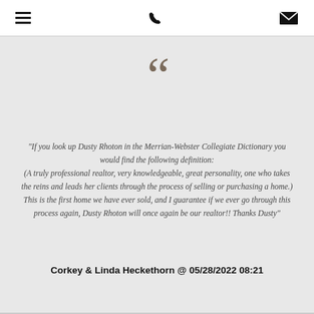[menu] [phone] [email]
[Figure (illustration): Large decorative opening quotation mark in brown/tan color]
"If you look up Dusty Rhoton in the Merrian-Webster Collegiate Dictionary you would find the following definition: (A truly professional realtor, very knowledgeable, great personality, one who takes the reins and leads her clients through the process of selling or purchasing a home.) This is the first home we have ever sold, and I guarantee if we ever go through this process again, Dusty Rhoton will once again be our realtor!! Thanks Dusty"
Corkey & Linda Heckethorn @ 05/28/2022 08:21